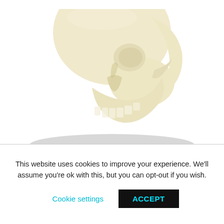[Figure (illustration): A light cream/beige colored skull illustration viewed from the side, floating above an elliptical gray shadow on a white background. Only the upper/middle portion of the skull is visible, cropped at top.]
Skull PNG
This website uses cookies to improve your experience. We'll assume you're ok with this, but you can opt-out if you wish.
Cookie settings   ACCEPT